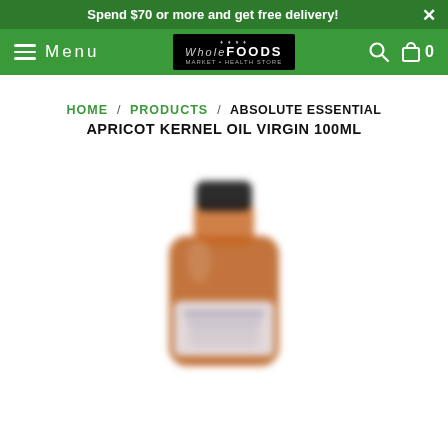Spend $70 or more and get free delivery!
Menu | WholdeFoods | 0
HOME / PRODUCTS / ABSOLUTE ESSENTIAL APRICOT KERNEL OIL VIRGIN 100ML
ABSOLUTE ESSENTIAL APRICOT KERNEL OIL VIRGIN 100ML
[Figure (photo): Blurry amber glass bottle with black cap and a white label, product is Absolute Essential Apricot Kernel Oil Virgin 100ml]